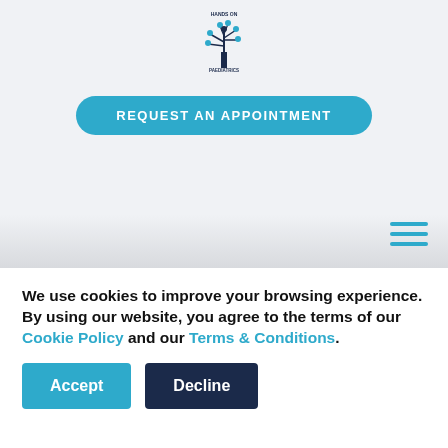[Figure (logo): Hands On Paediatrics logo — a tree with figures/icons in the branches, dark navy color, with 'HANDS ON' text above and 'PAEDIATRICS' text below]
REQUEST AN APPOINTMENT
[Figure (other): Hamburger menu icon — three horizontal parallel lines in teal/blue color, positioned top right]
We use cookies to improve your browsing experience. By using our website, you agree to the terms of our Cookie Policy and our Terms & Conditions.
Accept
Decline